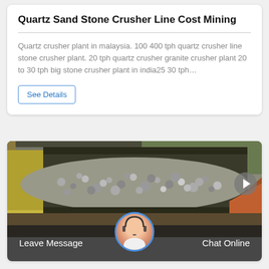Quartz Sand Stone Crusher Line Cost Mining
Quartz crusher plant in malaysia. 100 400 tph quartz crusher line stone crusher plant. 20 tph quartz crusher granite crusher plant 20 to 30 tph big stone crusher plant in india25 30 tph…
See Details
[Figure (photo): Conveyor belt carrying crushed stone/quartz rock material, with green grass visible in the background and machinery parts on the sides.]
Leave Message
Chat Online